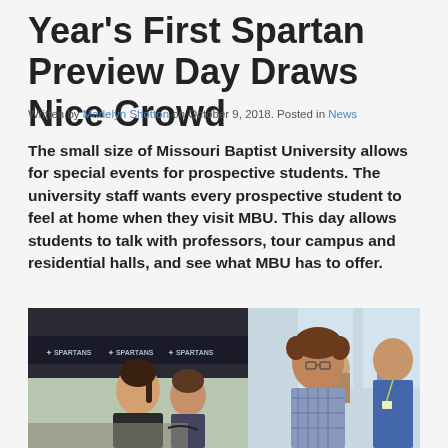Year's First Spartan Preview Day Draws Nice Crowd
Written by Madelyn Shotton on October 9, 2018. Posted in News
The small size of Missouri Baptist University allows for special events for prospective students. The university staff wants every prospective student to feel at home when they visit MBU. This day allows students to talk with professors, tour campus and residential halls, and see what MBU has to offer.
[Figure (photo): Students gathered at a Spartan Preview Day event at Missouri Baptist University. A young woman with a ponytail is in the foreground speaking with someone. In the background, a man with curly hair wearing a plaid shirt talks with another person in a blue shirt. A 'SPARTANS' banner is visible in the background.]